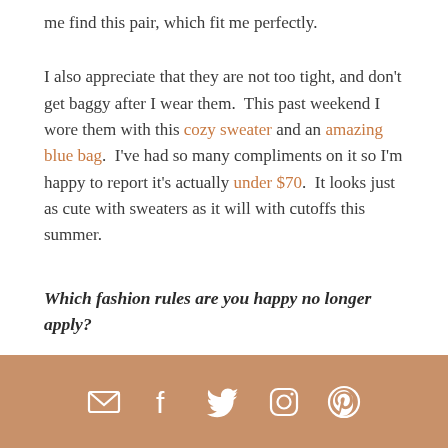me find this pair, which fit me perfectly.
I also appreciate that they are not too tight, and don't get baggy after I wear them.  This past weekend I wore them with this cozy sweater and an amazing blue bag.  I've had so many compliments on it so I'm happy to report it's actually under $70.  It looks just as cute with sweaters as it will with cutoffs this summer.
Which fashion rules are you happy no longer apply?
[Figure (infographic): Footer bar with social media icons: email, Facebook, Twitter, Instagram, Pinterest on a brown/tan background]